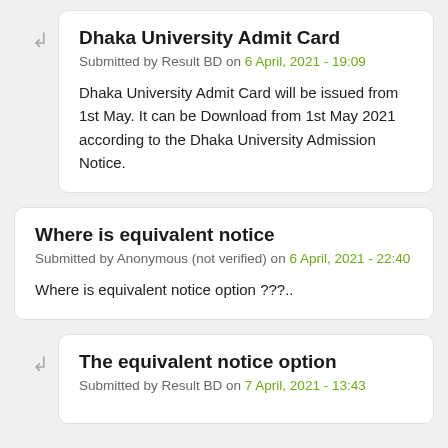Dhaka University Admit Card
Submitted by Result BD on 6 April, 2021 - 19:09
Dhaka University Admit Card will be issued from 1st May. It can be Download from 1st May 2021 according to the Dhaka University Admission Notice.
Where is equivalent notice
Submitted by Anonymous (not verified) on 6 April, 2021 - 22:40
Where is equivalent notice option ???..
The equivalent notice option
Submitted by Result BD on 7 April, 2021 - 13:43